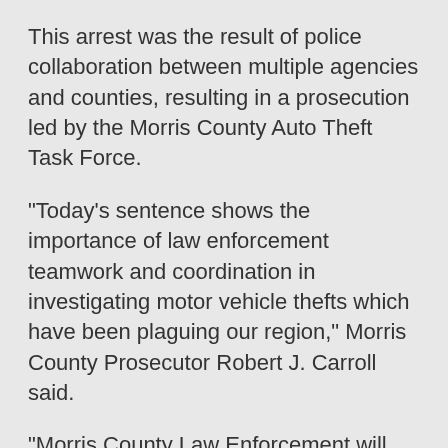This arrest was the result of police collaboration between multiple agencies and counties, resulting in a prosecution led by the Morris County Auto Theft Task Force.
"Today's sentence shows the importance of law enforcement teamwork and coordination in investigating motor vehicle thefts which have been plaguing our region," Morris County Prosecutor Robert J. Carroll said.
"Morris County Law Enforcement will aggressively investigate car thefts, and our prosecution team will ensure that those responsible for these thefts receive appropriate sentences to deter these thefts and keep our